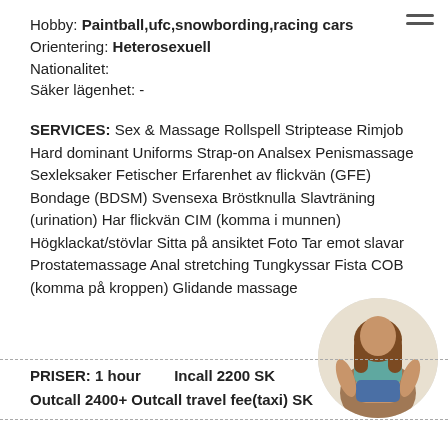Hobby: Paintball,ufc,snowbording,racing cars
Orientering: Heterosexuell
Nationalitet:
Säker lägenhet: -
SERVICES: Sex & Massage Rollspell Striptease Rimjob Hard dominant Uniforms Strap-on Analsex Penismassage Sexleksaker Fetischer Erfarenhet av flickvän (GFE) Bondage (BDSM) Svensexa Bröstknulla Slavträning (urination) Har flickvän CIM (komma i munnen) Högklackat/stövlar Sitta på ansiktet Foto Tar emot slavar Prostatemassage Anal stretching Tungkyssar Fista COB (komma på kroppen) Glidande massage
[Figure (photo): Circular avatar photo of a woman in a blue top and denim shorts, crouching, viewed from behind/side]
PRISER: 1 hour    Incall 2200 SK
Outcall 2400+ Outcall travel fee(taxi) SK